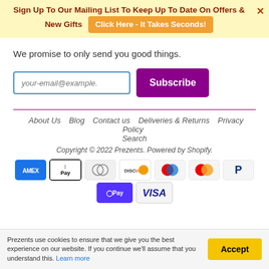Sign Up To Our Mailing List To Keep Up To Date On Offers & New Gifts   Click Here - It Takes Seconds!
We promise to only send you good things.
[Figure (other): Email input field with placeholder 'your-email@example.' and a purple Subscribe button]
About Us   Blog   Contact us   Deliveries & Returns   Privacy Policy   Search
Copyright © 2022 Prezents. Powered by Shopify.
[Figure (other): Payment method icons: Amex, Apple Pay, Diners Club, Discover, Maestro, Mastercard, PayPal, Shop Pay, Visa]
Prezents use cookies to ensure that we give you the best experience on our website. If you continue we'll assume that you understand this. Learn more